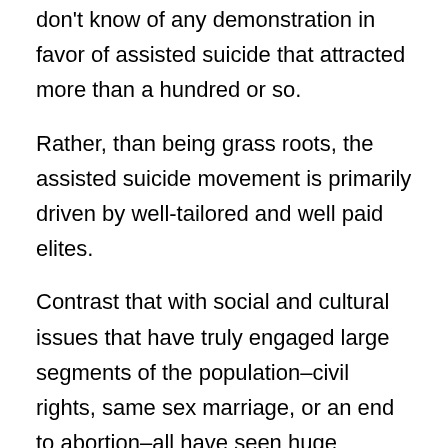don't know of any demonstration in favor of assisted suicide that attracted more than a hundred or so.
Rather, than being grass roots, the assisted suicide movement is primarily driven by well-tailored and well paid elites.
Contrast that with social and cultural issues that have truly engaged large segments of the population–civil rights, same sex marriage, or an end to abortion–all have seen huge demonstrations of adherents demanding change.
C & C is also distinctly anti-Catholic Church, seeing it as the greatest roadblock to legalized assisted suicide. From the report: